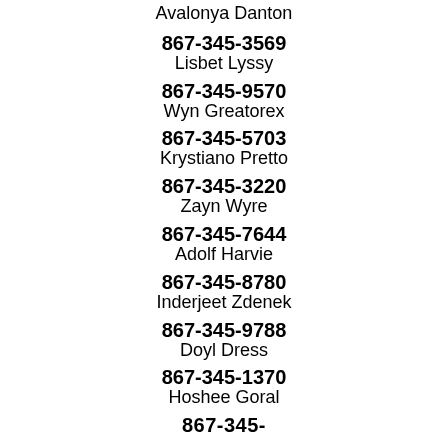Avalonya Danton
867-345-3569
Lisbet Lyssy
867-345-9570
Wyn Greatorex
867-345-5703
Krystiano Pretto
867-345-3220
Zayn Wyre
867-345-7644
Adolf Harvie
867-345-8780
Inderjeet Zdenek
867-345-9788
Doyl Dress
867-345-1370
Hoshee Goral